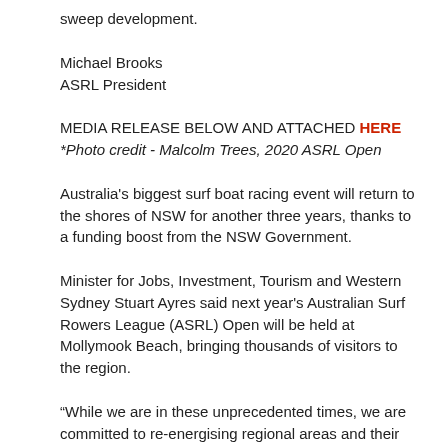sweep development.
Michael Brooks
ASRL President
MEDIA RELEASE BELOW AND ATTACHED HERE
*Photo credit - Malcolm Trees, 2020 ASRL Open
Australia's biggest surf boat racing event will return to the shores of NSW for another three years, thanks to a funding boost from the NSW Government.
Minister for Jobs, Investment, Tourism and Western Sydney Stuart Ayres said next year's Australian Surf Rowers League (ASRL) Open will be held at Mollymook Beach, bringing thousands of visitors to the region.
“While we are in these unprecedented times, we are committed to re-energising regional areas and their communities, which is why the NSW Government will continue investing in events